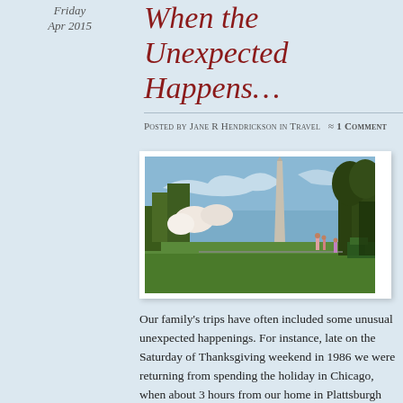Friday
Apr 2015
When the Unexpected Happens…
Posted by Jane R Hendrickson in Travel   ≈ 1 Comment
[Figure (photo): Photo of the Washington Monument seen from the National Mall, with green grass in the foreground, cherry blossoms and trees to the sides, people walking, and a clear blue sky.]
Our family's trips have often included some unusual unexpected happenings. For instance, late on the Saturday of Thanksgiving weekend in 1986 we were returning from spending the holiday in Chicago, when about 3 hours from our home in Plattsburgh NY our